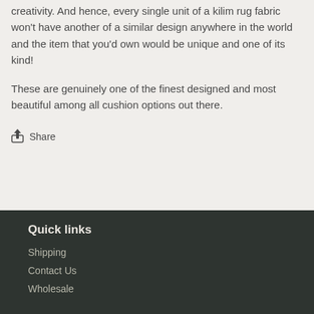creativity. And hence, every single unit of a kilim rug fabric won't have another of a similar design anywhere in the world and the item that you'd own would be unique and one of its kind!
These are genuinely one of the finest designed and most beautiful among all cushion options out there.
Share
Quick links
Shipping
Contact Us
Wholesale